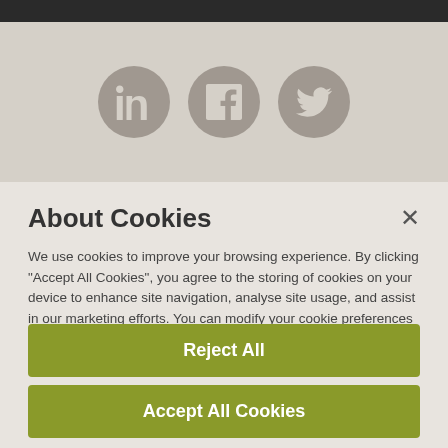[Figure (screenshot): Top dark banner and social media icons (LinkedIn, Facebook, Twitter) on a grey background]
About Cookies
We use cookies to improve your browsing experience. By clicking "Accept All Cookies", you agree to the storing of cookies on your device to enhance site navigation, analyse site usage, and assist in our marketing efforts. You can modify your cookie preferences by clicking on cookie settings.  Cookie Policy
Cookies Settings
Reject All
Accept All Cookies